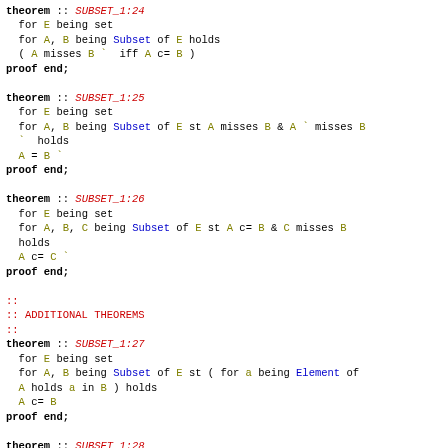theorem :: SUBSET_1:24
  for E being set
  for A, B being Subset of E holds
  ( A misses B ` iff A c= B )
proof end;

theorem :: SUBSET_1:25
  for E being set
  for A, B being Subset of E st A misses B & A ` misses B
  ` holds
  A = B `
proof end;

theorem :: SUBSET_1:26
  for E being set
  for A, B, C being Subset of E st A c= B & C misses B
  holds
  A c= C `
proof end;

::
:: ADDITIONAL THEOREMS
::
theorem :: SUBSET_1:27
  for E being set
  for A, B being Subset of E st ( for a being Element of
  A holds a in B ) holds
  A c= B
proof end;

theorem :: SUBSET_1:28